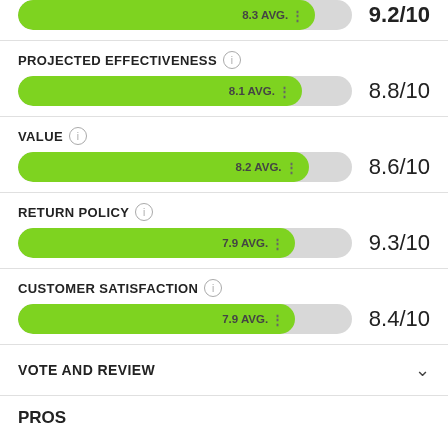[Figure (infographic): Top bar section showing 8.3 AVG bar (truncated from top) with score 9.2/10]
PROJECTED EFFECTIVENESS
[Figure (infographic): Horizontal green progress bar showing 8.1 AVG with score 8.8/10]
VALUE
[Figure (infographic): Horizontal green progress bar showing 8.2 AVG with score 8.6/10]
RETURN POLICY
[Figure (infographic): Horizontal green progress bar showing 7.9 AVG with score 9.3/10]
CUSTOMER SATISFACTION
[Figure (infographic): Horizontal green progress bar showing 7.9 AVG with score 8.4/10]
VOTE AND REVIEW
PROS
Vitamin C
Ferulic acid